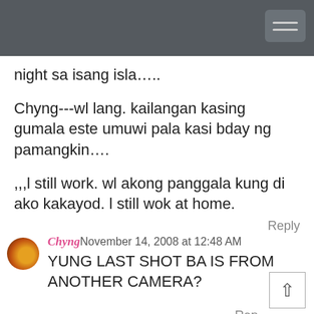night sa isang isla…..
Chyng---wl lang. kailangan kasing gumala este umuwi pala kasi bday ng pamangkin….
,,,l still work. wl akong panggala kung di ako kakayod. l still wok at home.
Reply
Chyng November 14, 2008 at 12:48 AM
YUNG LAST SHOT BA IS FROM ANOTHER CAMERA?
Rep
escape November 14, 2008 at 11:20 A
astig ah! travel blog na nga